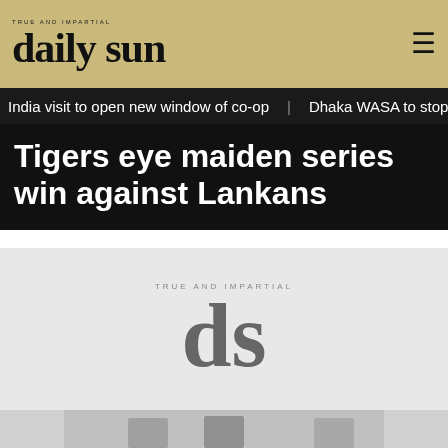daily sun — TRUE AND IMPARTIAL
India visit to open new window of co-op   Dhaka WASA to stop sub
Tigers eye maiden series win against Lankans
[Figure (logo): Daily Sun newspaper logo — large grey 'ds' letters with 'TRUE AND IMPARTIAL' tagline above, on light grey background]
[Figure (photo): Partial bottom strip showing cropped photographs]